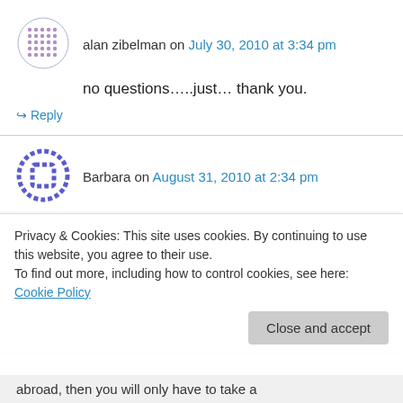alan zibelman on July 30, 2010 at 3:34 pm
no questions…..just… thank you.
↪ Reply
Barbara on August 31, 2010 at 2:34 pm
What is required to get a drivers license in Israel?
↪ Reply
Privacy & Cookies: This site uses cookies. By continuing to use this website, you agree to their use.
To find out more, including how to control cookies, see here: Cookie Policy
Close and accept
abroad, then you will only have to take a